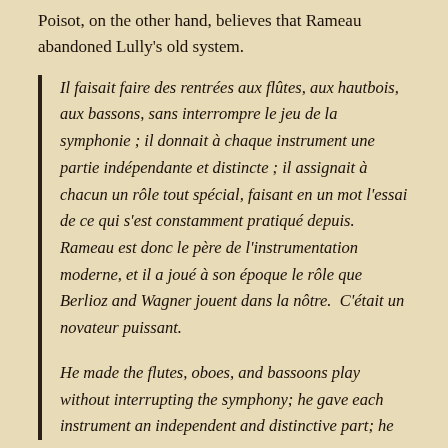Poisot, on the other hand, believes that Rameau abandoned Lully's old system.
Il faisait faire des rentrées aux flûtes, aux hautbois, aux bassons, sans interrompre le jeu de la symphonie ; il donnait à chaque instrument une partie indépendante et distincte ; il assignait à chacun un rôle tout spécial, faisant en un mot l'essai de ce qui s'est constamment pratiqué depuis. Rameau est donc le père de l'instrumentation moderne, et il a joué à son époque le rôle que Berlioz and Wagner jouent dans la nôtre.  C'était un novateur puissant.
He made the flutes, oboes, and bassoons play without interrupting the symphony; he gave each instrument an independent and distinctive part; he